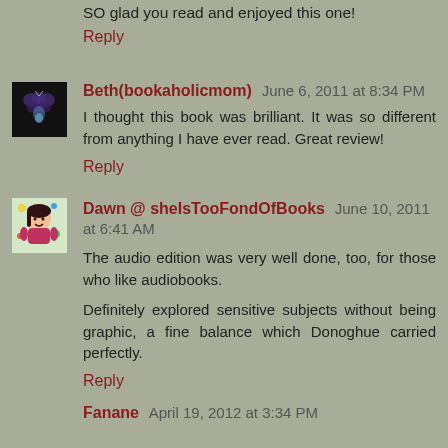SO glad you read and enjoyed this one!
Reply
Beth(bookaholicmom) June 6, 2011 at 8:34 PM
I thought this book was brilliant. It was so different from anything I have ever read. Great review!
Reply
Dawn @ sheIsTooFondOfBooks June 10, 2011 at 6:41 AM
The audio edition was very well done, too, for those who like audiobooks.
Definitely explored sensitive subjects without being graphic, a fine balance which Donoghue carried perfectly.
Reply
Fanane April 19, 2012 at 3:34 PM